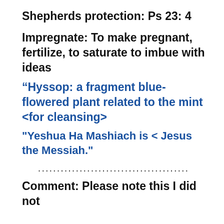Shepherds protection: Ps 23: 4
Impregnate: To make pregnant, fertilize, to saturate to imbue with ideas
“Hyssop: a fragment blue-flowered plant related to the mint <for cleansing>
"Yeshua Ha Mashiach is < Jesus the Messiah."
........................................
Comment: Please note this I did not